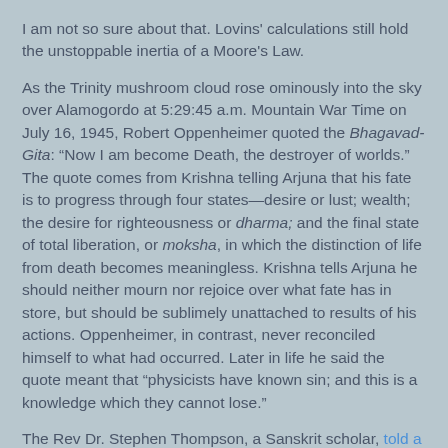I am not so sure about that. Lovins' calculations still hold the unstoppable inertia of a Moore's Law.
As the Trinity mushroom cloud rose ominously into the sky over Alamogordo at 5:29:45 a.m. Mountain War Time on July 16, 1945, Robert Oppenheimer quoted the Bhagavad-Gita: “Now I am become Death, the destroyer of worlds.” The quote comes from Krishna telling Arjuna that his fate is to progress through four states—desire or lust; wealth; the desire for righteousness or dharma; and the final state of total liberation, or moksha, in which the distinction of life from death becomes meaningless. Krishna tells Arjuna he should neither mourn nor rejoice over what fate has in store, but should be sublimely unattached to results of his actions. Oppenheimer, in contrast, never reconciled himself to what had occurred. Later in life he said the quote meant that “physicists have known sin; and this is a knowledge which they cannot lose.”
The Rev Dr. Stephen Thompson, a Sanskrit scholar, told a Wired reporter: